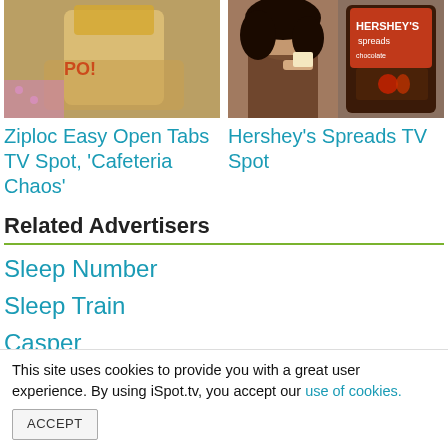[Figure (photo): Thumbnail image of person holding a snack bag - Ziploc Easy Open Tabs TV Spot]
Ziploc Easy Open Tabs TV Spot, 'Cafeteria Chaos'
[Figure (photo): Thumbnail image of woman tasting food next to Hershey's Spreads jar - Hershey's Spreads TV Spot]
Hershey's Spreads TV Spot
Related Advertisers
Sleep Number
Sleep Train
Casper
Tempur-Pedic
Mattress Brand USA
This site uses cookies to provide you with a great user experience. By using iSpot.tv, you accept our use of cookies.
ACCEPT